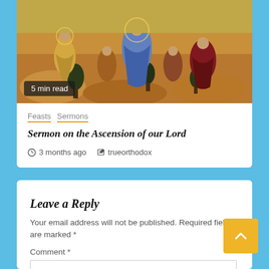[Figure (illustration): Medieval or Byzantine religious painting/icon showing figures with robes on a golden/ochre background, religious iconographic style]
5 min read
Feasts  Sermons
Sermon on the Ascension of our Lord
3 months ago   trueorthodox
Leave a Reply
Your email address will not be published. Required fields are marked *
Comment *